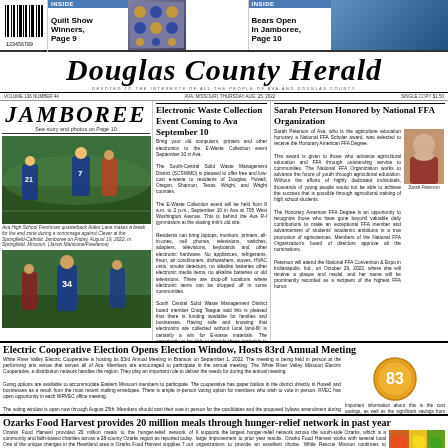INSIDE: Quilt Show Winners, Page 9 | INSIDE: Bears Open In Jamboree, Page 10
Douglas County Herald
DEVOTED TO THE INTERESTS OF ALL THE PEOPLE OF AVA AND DOUGLAS COUNTY
VOLUME 136 NUMBER 44 | AVA, MISSOURI, THURSDAY AUG. 25, 2022 | SINGLE COPY $1.50
[Figure (photo): JAMBOREE banner with football action photo showing Ava High School Freshman quarterback Aiden Lane making a break during scrimmage against Clever at Springfield-Catholic Jamboree on Friday August 19 2022]
Ava High School Freshman quarterback Aiden Lane makes a break for the end zone during a scrimmage against Clever at the Springfield-Catholic Jamboree on Friday, August 19, 2022, in Springfield Missouri. (Jason Manicone/Freelance)
[Figure (photo): Second football action photo of player number 34 running with the ball]
Electronic Waste Collection Event Coming to Ava September 10
Bring your old computers, printers and other electronics to the E-Waste Collection event September 10 in Ava.
Ava City Council Does Not Meet
The City of Ava normally meets twice a month. In August, the council met only one time.
Sarah Peterson Honored by National FFA Organization
[Figure (photo): Portrait photo of Sarah Peterson]
Sarah Peterson
Electric Cooperative Election Opens Election Window, Hosts 83rd Annual Meeting
[Figure (other): Gold badge with number 83 on it representing the 83rd Annual Meeting]
Ozarks Food Harvest provides 20 million meals through hunger-relief network in past year
[Figure (photo): Colorful photo of produce/food items at Ozarks Food Harvest]